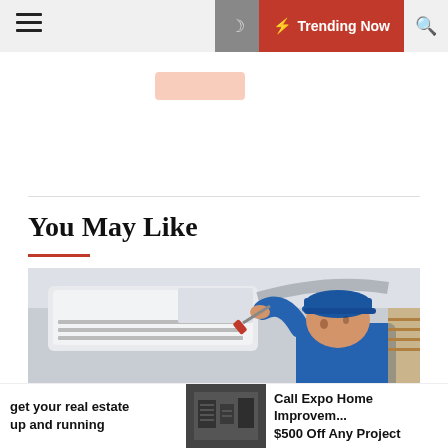≡  🌙  ⚡ Trending Now  🔍
You May Like
[Figure (photo): A technician in a blue cap and blue uniform uses a screwdriver to service a wall-mounted mini-split HVAC unit indoors.]
🕐 3 months ago
How to Know If Your HVAC System Is Due for
get your real estate up and running
[Figure (photo): An outdoor HVAC condenser unit viewed from above or side.]
Call Expo Improvem... $500 Off Any Project